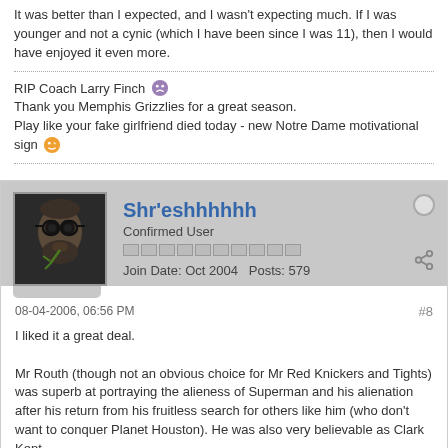It was better than I expected, and I wasn't expecting much. If I was younger and not a cynic (which I have been since I was 11), then I would have enjoyed it even more.
RIP Coach Larry Finch [emoji]
Thank you Memphis Grizzlies for a great season.
Play like your fake girlfriend died today - new Notre Dame motivational sign [emoji]
Shr'eshhhhhh
Confirmed User
Join Date: Oct 2004   Posts: 579
08-04-2006, 06:56 PM
#8
I liked it a great deal.

Mr Routh (though not an obvious choice for Mr Red Knickers and Tights) was superb at portraying the alieness of Superman and his alienation after his return from his fruitless search for others like him (who don't want to conquer Planet Houston). He was also very believable as Clark Kent.